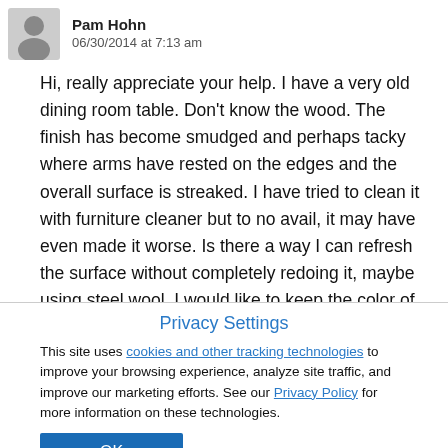Pam Hohn
06/30/2014 at 7:13 am
Hi, really appreciate your help. I have a very old dining room table. Don't know the wood. The finish has become smudged and perhaps tacky where arms have rested on the edges and the overall surface is streaked. I have tried to clean it with furniture cleaner but to no avail, it may have even made it worse. Is there a way I can refresh the surface without completely redoing it, maybe using steel wool. I would like to keep the color of the stain because it matches an enclosed
Privacy Settings
This site uses cookies and other tracking technologies to improve your browsing experience, analyze site traffic, and improve our marketing efforts. See our Privacy Policy for more information on these technologies.
OK